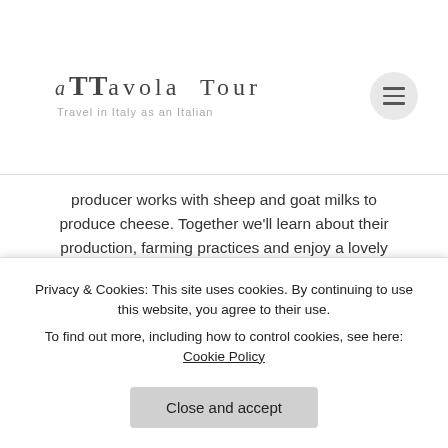ATTAVOLA TOUR — Travel in Italy as an Italian
producer works with sheep and goat milks to produce cheese. Together we'll learn about their production, farming practices and enjoy a lovely tasting lunch together. After lunch, we will move to Zeddiani, visiting a local Myrtle and Grappa producer, very traditional in Sardinia, with an interesting tasting. This evening you will be free to relax at the hotel or in Oristano and dinner on your own.
Privacy & Cookies: This site uses cookies. By continuing to use this website, you agree to their use. To find out more, including how to control cookies, see here: Cookie Policy